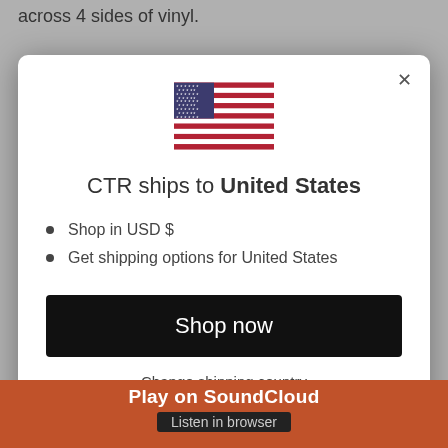across 4 sides of vinyl.
[Figure (screenshot): Modal dialog with US flag, 'CTR ships to United States' heading, bullet points for USD and shipping options, Shop now button, and Change shipping country link]
CTR ships to United States
Shop in USD $
Get shipping options for United States
Shop now
Change shipping country
Play on SoundCloud
Listen in browser